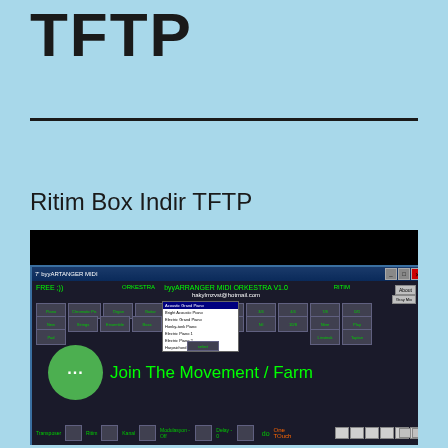TFTP
Ritim Box Indir TFTP
[Figure (screenshot): Screenshot of byyARRANGER MIDI ORKESTRA V1.0 software window showing a MIDI arranger interface with ORKESTRA and RITIM sections, instrument buttons, a dropdown list of piano sounds, and an overlay showing a green chat bubble icon and 'Join The Movement / Farm' text in green.]